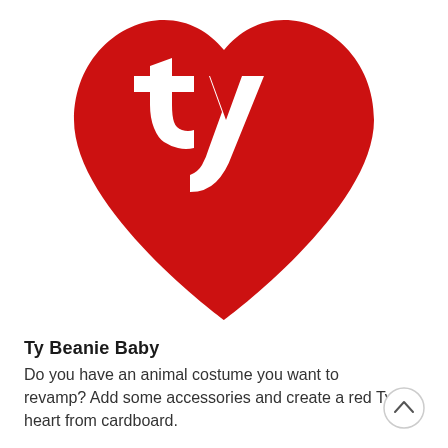[Figure (logo): Ty Beanie Baby red heart logo with stylized 'ty' lettering inside, shown cropped at the top of the page]
Ty Beanie Baby
Do you have an animal costume you want to revamp? Add some accessories and create a red Ty heart from cardboard.